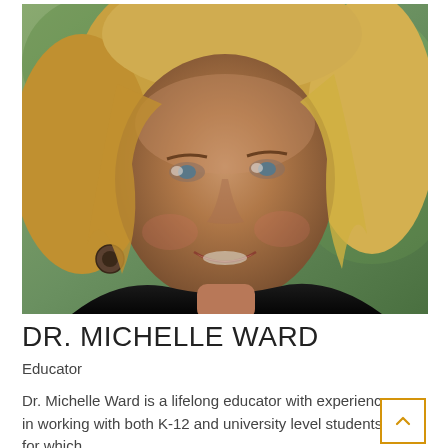[Figure (photo): Headshot photo of Dr. Michelle Ward, a woman with blonde hair, smiling, wearing dark earrings.]
DR. MICHELLE WARD
Educator
Dr. Michelle Ward is a lifelong educator with experience in working with both K-12 and university level students for which